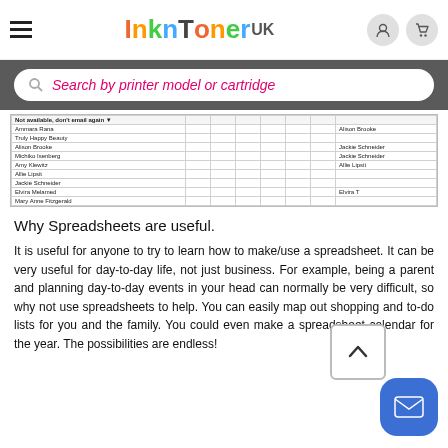InknToner UK — Search by printer model or cartridge
[Figure (screenshot): Partial spreadsheet screenshot showing rows with names including: Not available dont email again, Ammara Rana, Truly Happy Beauty, Alison Brooke, Michiko Isenberg, Amy Klewitz, Allie Lipsit, Jackie Schneider, Elvira Melamed, Mary Anne Fitzgerald. Right column shows names: Alison Brooke, Jackie Schneider, Jackie Schneider, Allie Lipsit, Elvira T]
Why Spreadsheets are useful.
It is useful for anyone to try to learn how to make/use a spreadsheet. It can be very useful for day-to-day life, not just business. For example, being a parent and planning day-to-day events in your head can normally be very difficult, so why not use spreadsheets to help. You can easily map out shopping and to-do lists for you and the family. You could even make a spreadsheet calendar for the year. The possibilities are endless!